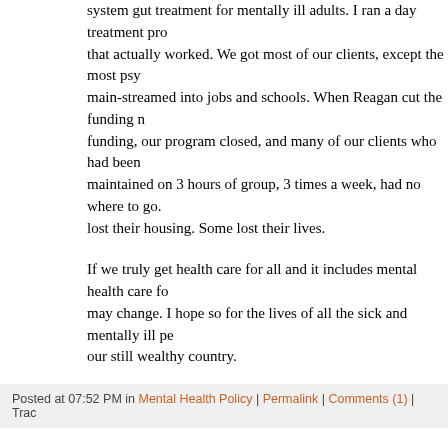system gut treatment for mentally ill adults. I ran a day treatment pro that actually worked. We got most of our clients, except the most psy main-streamed into jobs and schools. When Reagan cut the funding n funding, our program closed, and many of our clients who had been maintained on 3 hours of group, 3 times a week, had no where to go. lost their housing. Some lost their lives.
If we truly get health care for all and it includes mental health care fo may change. I hope so for the lives of all the sick and mentally ill pe our still wealthy country.
Posted at 07:52 PM in Mental Health Policy | Permalink | Comments (1) | Trac
AUGUST 09, 2009
» Narcolepsy and EMDR Processing
A client has given me permission to post about her situation: the effe Provigil, Prozac, and time on trauma processing:
Round 1, 15 years ago: She was bright, effusive, and had the odd hab jerking her head up to look around and writing down everything I sai worked for eight months using EMDR to clear the PTSD from the ph and emotionally abusive marriage that she had escaped 17 years befo seemed dissociative, but in a strange way, staring off, then going to th jerk. The EMDR worked, the flashbacks stopped, the client, satisfied off.